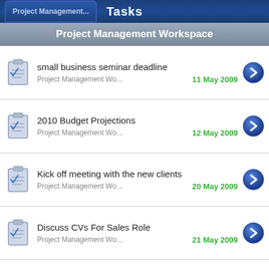Project Management... Tasks
Project Management Workspace
small business seminar deadline | Project Management Wo... | 11 May 2009
2010 Budget Projections | Project Management Wo... | 12 May 2009
Kick off meeting with the new clients | Project Management Wo... | 20 May 2009
Discuss CVs For Sales Role | Project Management Wo... | 21 May 2009
Final Meetings with New Web Desi... | Project Management Wo... | 27 May 2009